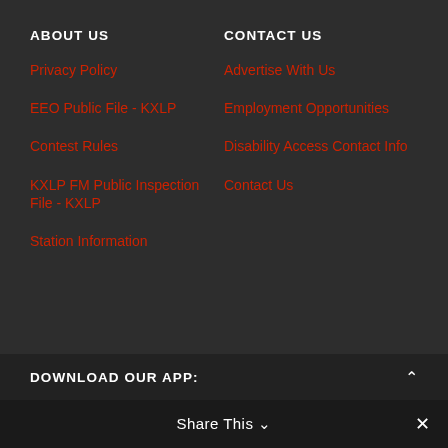ABOUT US
Privacy Policy
EEO Public File - KXLP
Contest Rules
KXLP FM Public Inspection File - KXLP
Station Information
CONTACT US
Advertise With Us
Employment Opportunities
Disability Access Contact Info
Contact Us
DOWNLOAD OUR APP:
Share This